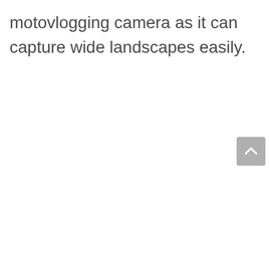motovlogging camera as it can capture wide landscapes easily.
[Figure (other): A scroll-to-top button (upward chevron arrow) in a rounded gray square, positioned at the bottom-right of the page.]